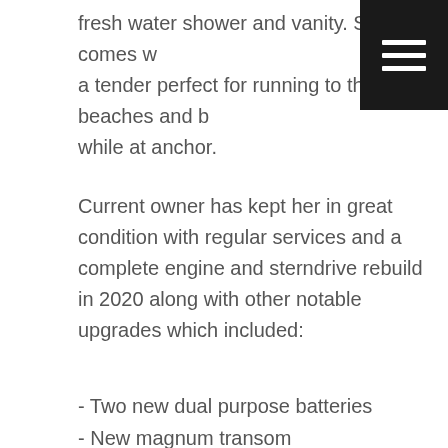fresh water shower and vanity. She also comes with a tender perfect for running to the beaches and bars while at anchor.
Current owner has kept her in great condition with regular services and a complete engine and sterndrive rebuild in 2020 along with other notable upgrades which included:
- Two new dual purpose batteries
- New magnum transom
- New Lenco 12" trim tab kit
- New sounder and GME marine VHF
- New anchor light and navigation light
- New Muir winch assembly
- New stainless steel bladder and water strip...